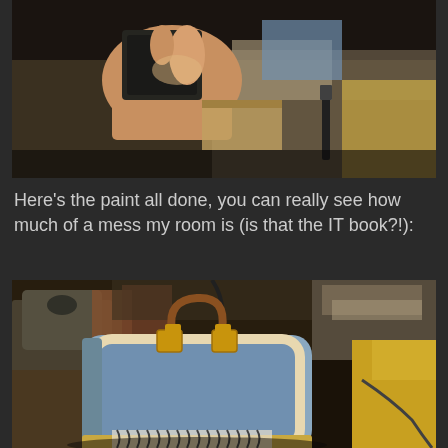[Figure (photo): Close-up photo of a hand holding a small painted metal lunchbox, with various craft supplies on a desk in the background including paper, a knife/tool, and yellow fabric.]
Here's the paint all done, you can really see how much of a mess my room is (is that the IT book?!):
[Figure (photo): A painted light blue metal lunchbox sitting on a cluttered desk. The lunchbox has a brown handle, gold/yellow latch hardware, and cream/white trim around the edges. The background shows a very messy room with books, papers, a sewing machine, cables, and yellow fabric.]